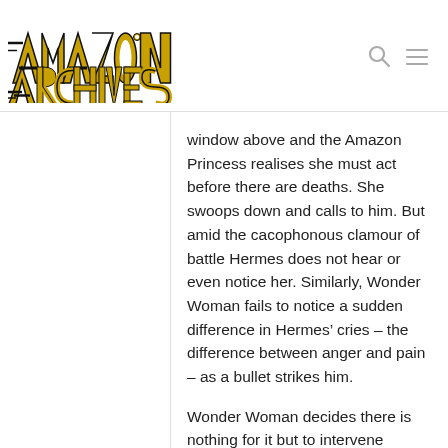[Figure (logo): Amazon Archives logo with gold and black stylized lettering]
window above and the Amazon Princess realises she must act before there are deaths. She swoops down and calls to him. But amid the cacophonous clamour of battle Hermes does not hear or even notice her. Similarly, Wonder Woman fails to notice a sudden difference in Hermes’ cries – the difference between anger and pain – as a bullet strikes him.
Wonder Woman decides there is nothing for it but to intervene